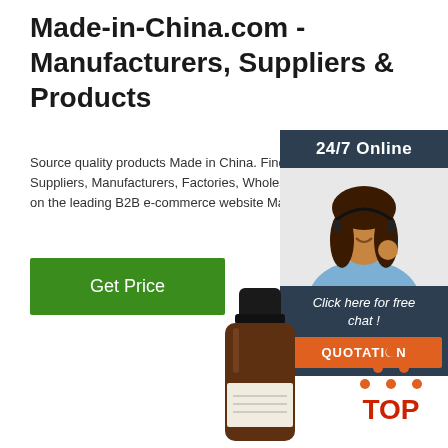Made-in-China.com - Manufacturers, Suppliers & Products
Source quality products Made in China. Find reliable Suppliers, Manufacturers, Factories, Wholesalers on the leading B2B e-commerce website Made-in...
[Figure (other): Green 'Get Price' button]
[Figure (other): 24/7 Online chat widget with woman wearing headset, 'Click here for free chat!' text, and orange QUOTATION button]
[Figure (photo): Dark amber glass bottle with black cap and white label — essential oil or similar product]
[Figure (logo): TOP logo with orange dots arranged as triangle above the word TOP in orange/red]